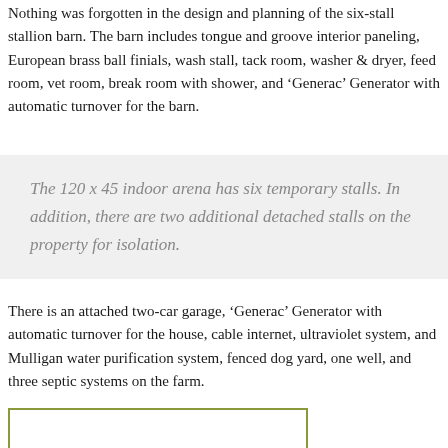Nothing was forgotten in the design and planning of the six-stall stallion barn. The barn includes tongue and groove interior paneling, European brass ball finials, wash stall, tack room, washer & dryer, feed room, vet room, break room with shower, and 'Generac' Generator with automatic turnover for the barn.
The 120 x 45 indoor arena has six temporary stalls. In addition, there are two additional detached stalls on the property for isolation.
There is an attached two-car garage, 'Generac' Generator with automatic turnover for the house, cable internet, ultraviolet system, and Mulligan water purification system, fenced dog yard, one well, and three septic systems on the farm.
[Figure (other): Green-bordered rectangle box at bottom of page]